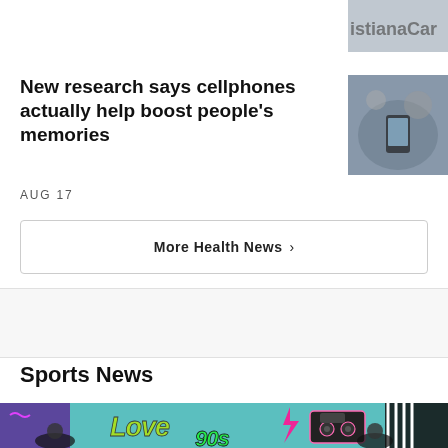[Figure (photo): Partial cropped photo showing text 'istianaCar' on a sign, building exterior]
New research says cellphones actually help boost people's memories
AUG 17
[Figure (photo): People looking at phones in a crowd, hands holding smartphones]
More Health News >
Sports News
[Figure (photo): Colorful sports event promotional image with graffiti-style 'Love the 90s' text, boombox graphic, lightning bolt, people in caps, Red Bull branding, teal background]